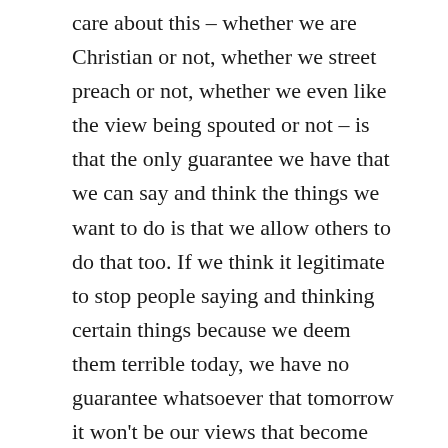care about this – whether we are Christian or not, whether we street preach or not, whether we even like the view being spouted or not – is that the only guarantee we have that we can say and think the things we want to do is that we allow others to do that too. If we think it legitimate to stop people saying and thinking certain things because we deem them terrible today, we have no guarantee whatsoever that tomorrow it won't be our views that become unsayable and unthinkable. Plenty of high profile, once 'right on' voices have found this out themselves. None of us will be immune if we sell the principle.
So, you might have little sympathy for street preachers. You might not have much time for